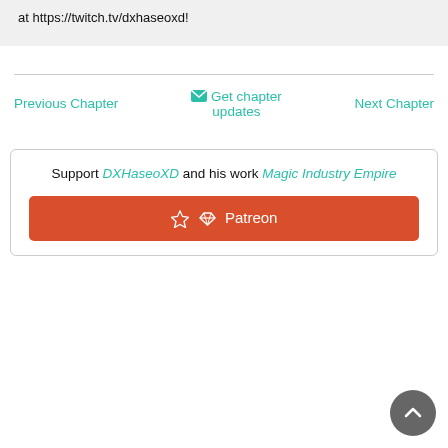at https://twitch.tv/dxhaseoxd!
Previous Chapter | Get chapter updates | Next Chapter
Support DXHaseoXD and his work Magic Industry Empire
Patreon